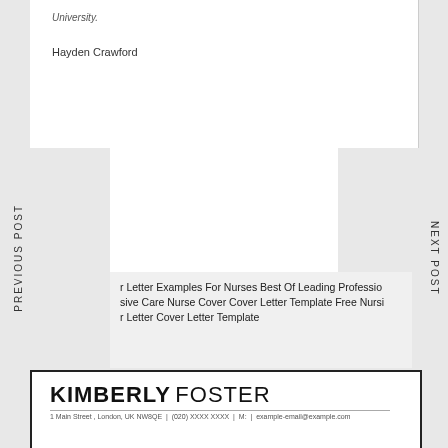University.
Hayden Crawford
PREVIOUS POST
NEXT POST
r Letter Examples For Nurses Best Of Leading Professio sive Care Nurse Cover Cover Letter Template Free Nursi r Letter Cover Letter Template
KIMBERLY FOSTER
1 Main Street , London, UK NW8QE | (020) XXXX XXXX | M: | example-email@example.com